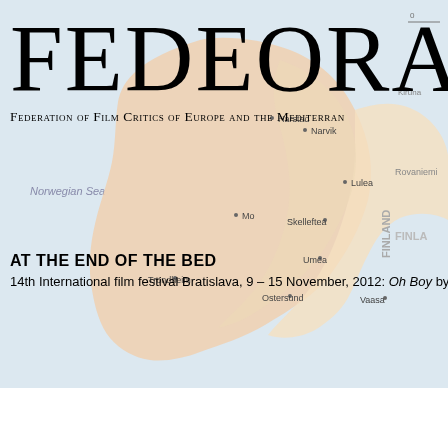[Figure (map): A geographic map of Northern Europe including Norway, Sweden, Finland, and surrounding seas, used as a decorative background. Cities labeled include Harstad, Narvik, Mo, Lulea, Skelleftea, Umea, Ostersund, Trondheim, Vaasa. Seas labeled: Norwegian Sea. Countries: Finland.]
FEDEORA
Federation of Film Critics of Europe and the Mediterranean
AT THE END OF THE BED
14th International film festival Bratislava, 9 – 15 November, 2012: Oh Boy by Jan Ole